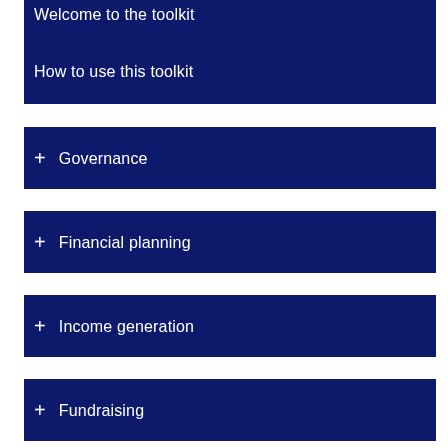Welcome to the toolkit
How to use this toolkit
+ Governance
+ Financial planning
+ Income generation
+ Fundraising
+ Collections
+ Audiences